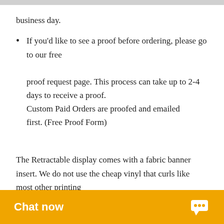business day.
If you'd like to see a proof before ordering, please go to our free proof request page. This process can take up to 2-4 days to receive a proof. Custom Paid Orders are proofed and emailed first. (Free Proof Form)
The Retractable display comes with a fabric banner insert. We do not use the cheap vinyl that curls like most other printing
[Figure (other): Chat now button overlay at the bottom of the page with orange background and speech bubble icon]